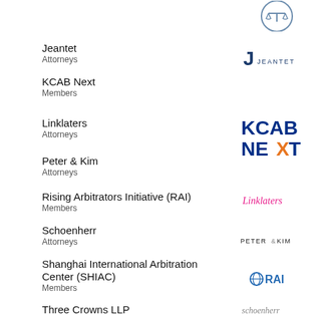[Figure (logo): Top logo (justice/balance scale icon in circle)]
Jeantet
Attorneys
[Figure (logo): Jeantet logo - stylized J with JEANTET text]
KCAB Next
Members
[Figure (logo): KCAB NEXT logo in blue and orange]
Linklaters
Attorneys
[Figure (logo): Linklaters logo in pink/magenta]
Peter & Kim
Attorneys
[Figure (logo): PETER&KIM logo in dark text]
Rising Arbitrators Initiative (RAI)
Members
[Figure (logo): RAI logo with globe icon]
Schoenherr
Attorneys
[Figure (logo): schoenherr logo in grey lowercase]
Shanghai International Arbitration Center (SHIAC)
Members
[Figure (logo): SHIAC logo with arc and text]
Three Crowns LLP
Attorneys
[Figure (logo): 3C Three Crowns logo in grey]
YIAG
[Figure (logo): YIAG logo with star]